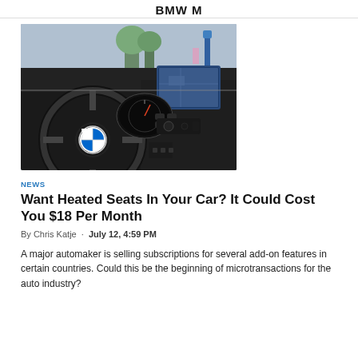BMW M
[Figure (photo): BMW car interior showing steering wheel with BMW logo, dashboard, gauges, and infotainment screen]
NEWS
Want Heated Seats In Your Car? It Could Cost You $18 Per Month
By Chris Katje · July 12, 4:59 PM
A major automaker is selling subscriptions for several add-on features in certain countries. Could this be the beginning of microtransactions for the auto industry?